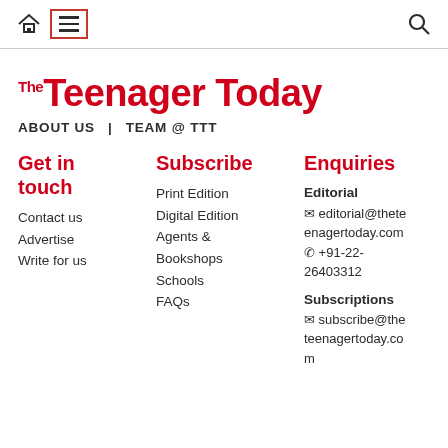Navigation bar with home icon, menu icon (highlighted), and search icon
The Teenager Today
ABOUT US  |  TEAM @ TTT
Get in touch
Contact us
Advertise
Write for us
Subscribe
Print Edition
Digital Edition
Agents & Bookshops
Schools
FAQs
Enquiries
Editorial
✉ editorial@theteenagertoday.com
☎ +91-22-26403312
Subscriptions
✉ subscribe@theteenagertoday.com